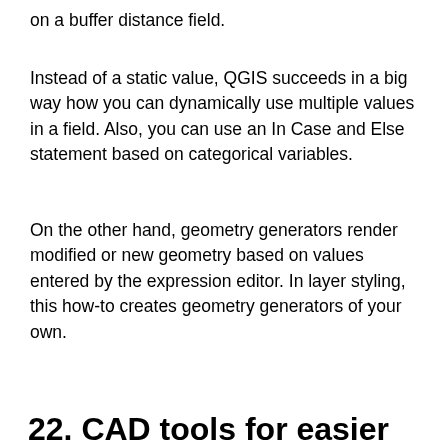on a buffer distance field.
Instead of a static value, QGIS succeeds in a big way how you can dynamically use multiple values in a field. Also, you can use an In Case and Else statement based on categorical variables.
On the other hand, geometry generators render modified or new geometry based on values entered by the expression editor. In layer styling, this how-to creates geometry generators of your own.
22. CAD tools for easier